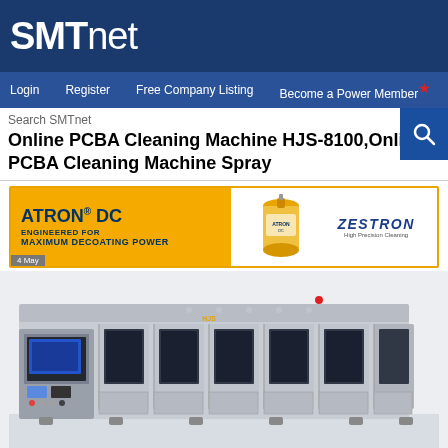SMTnet
Login  Register  Free Company Listing  Become a Power Member
Search SMTnet
Online PCBA Cleaning Machine HJS-8100,Online PCBA Cleaning Machine Spray
[Figure (infographic): ATRON DC advertisement banner - Engineered for Maximum Decoating Power, Zestron brand, with canister image]
[Figure (photo): Industrial Online PCBA Cleaning Machine HJS-8100, a large grey machine with multiple chambers, control panel, and conveyor system]